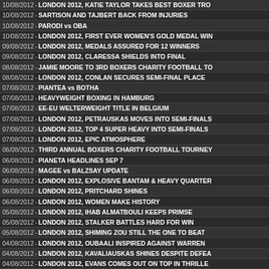10/08/2012 - LONDON 2012, KATIE TAYLOR TAKES BEST BOXER TRO
10/08/2012 - SARTISON AND TAJBERT BACK FROM INJURIES
10/08/2012 - PARODI vs OBA
10/08/2012 - LONDON 2012, FIRST EVER WOMEN'S GOLD MEDAL WIN
09/08/2012 - LONDON 2012, MEDALS ASSURED FOR 12 WINNERS
09/08/2012 - LONDON 2012, CLARESSA SHIELDS INTO FINAL
08/08/2012 - JAMIE MOORE TO 3RD BOXERS CHARITY FOOTBALL TO
08/08/2012 - LONDON 2012, CONLAN SECURES SEMI-FINAL PLACE
07/08/2012 - PIANTEA vs BOTHA
07/08/2012 - HEAVYWEIGHT BOXING IN HAMBURG
07/08/2012 - EE-EU WELTERWEIGHT TITLE IN BELGIUM
07/08/2012 - LONDON 2012, PETRAUSKAS MOVES INTO SEMI-FINALS
07/08/2012 - LONDON 2012, TOP 4 SUPER HEAVY INTO SEMI-FINALS
07/08/2012 - LONDON 2012, EPIC ATMOSPHERE
06/08/2012 - THIRD ANNUAL BOXERS CHARITY FOOTBALL TOURNEY
06/08/2012 - PIANETA HEADLINES SEP 7
06/08/2012 - MAGEE vs BALZSAY UPDATE
06/08/2012 - LONDON 2012, EXPLOSIVE BANTAM & HEAVY QUARTER
06/08/2012 - LONDON 2012, PRITCHARD SHINES
06/08/2012 - LONDON 2012, WOMEN MAKE HISTORY
05/08/2012 - LONDON 2012, IHAB ALMATBOULI KEEPS PRIMSE
05/08/2012 - LONDON 2012, STALKER BATTLES HARD FOR WIN
05/08/2012 - LONDON 2012, SHIMING ZOU STILL THE ONE TO BEAT
04/08/2012 - LONDON 2012, OUBAALI INSPIRED AGAINST WARREN
04/08/2012 - LONDON 2012, KAVALIAUSKAS SHINES DESPITE DEFEA
04/08/2012 - LONDON 2012, EVANS COMES OUT ON TOP IN THRILLE